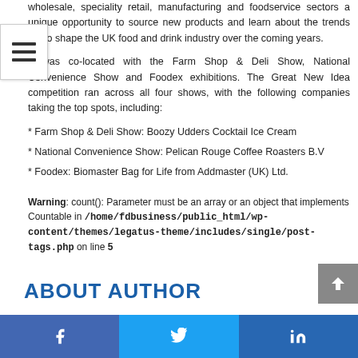wholesale, speciality retail, manufacturing and foodservice sectors a unique opportunity to source new products and learn about the trends set to shape the UK food and drink industry over the coming years.
It was co-located with the Farm Shop & Deli Show, National Convenience Show and Foodex exhibitions. The Great New Idea competition ran across all four shows, with the following companies taking the top spots, including:
* Farm Shop & Deli Show: Boozy Udders Cocktail Ice Cream
* National Convenience Show: Pelican Rouge Coffee Roasters B.V
* Foodex: Biomaster Bag for Life from Addmaster (UK) Ltd.
Warning: count(): Parameter must be an array or an object that implements Countable in /home/fdbusiness/public_html/wp-content/themes/legatus-theme/includes/single/post-tags.php on line 5
ABOUT AUTHOR